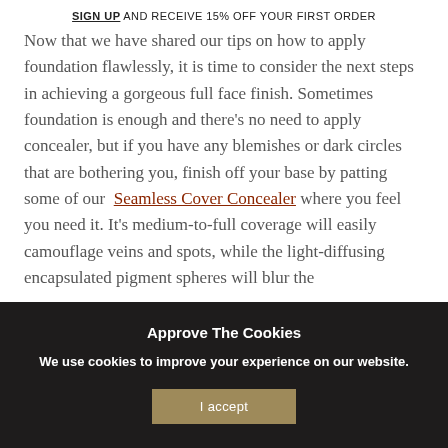SIGN UP AND RECEIVE 15% OFF YOUR FIRST ORDER
Now that we have shared our tips on how to apply foundation flawlessly, it is time to consider the next steps in achieving a gorgeous full face finish. Sometimes foundation is enough and there's no need to apply concealer, but if you have any blemishes or dark circles that are bothering you, finish off your base by patting some of our Seamless Cover Concealer where you feel you need it. It's medium-to-full coverage will easily camouflage veins and spots, while the light-diffusing encapsulated pigment spheres will blur the
Approve The Cookies
We use cookies to improve your experience on our website.
I accept